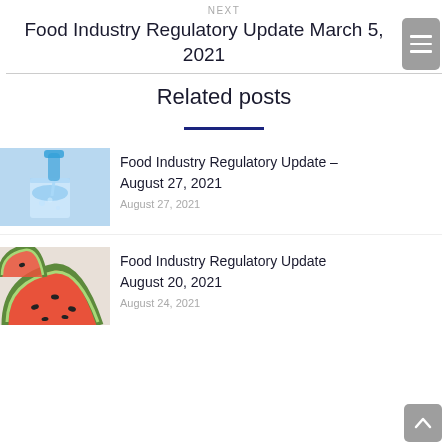NEXT
Food Industry Regulatory Update March 5, 2021
Related posts
[Figure (photo): Water being poured from a plastic bottle into a glass of water against a light blue background]
Food Industry Regulatory Update – August 27, 2021
August 27, 2021
[Figure (photo): Sliced watermelon pieces arranged on a surface]
Food Industry Regulatory Update August 20, 2021
August 24, 2021